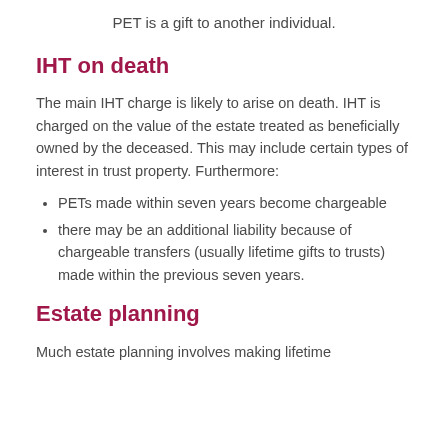PET is a gift to another individual.
IHT on death
The main IHT charge is likely to arise on death. IHT is charged on the value of the estate treated as beneficially owned by the deceased. This may include certain types of interest in trust property. Furthermore:
PETs made within seven years become chargeable
there may be an additional liability because of chargeable transfers (usually lifetime gifts to trusts) made within the previous seven years.
Estate planning
Much estate planning involves making lifetime transfers still...